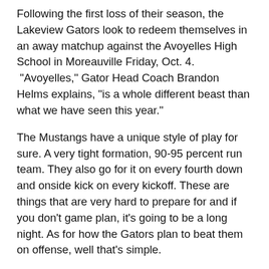Following the first loss of their season, the Lakeview Gators look to redeem themselves in an away matchup against the Avoyelles High School in Moreauville Friday, Oct. 4. “Avoyelles,” Gator Head Coach Brandon Helms explains, “is a whole different beast than what we have seen this year.”
The Mustangs have a unique style of play for sure. A very tight formation, 90-95 percent run team. They also go for it on every fourth down and onside kick on every kickoff. These are things that are very hard to prepare for and if you don’t game plan, it’s going to be a long night. As for how the Gators plan to beat them on offense, well that's simple.
Arguably the best part about this Lakeview squad are the athletes they have on the outside. At least two to three incredibly talented receivers are in the game every down for the Gators. Defensively, it will be tough to stop the three-headed monster in the Mustang backfield consisting of their fullback and two...